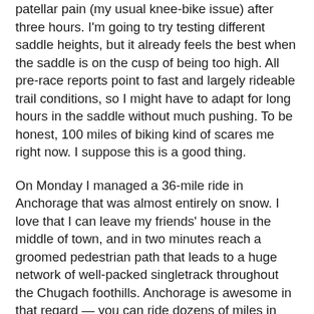patellar pain (my usual knee-bike issue) after three hours. I'm going to try testing different saddle heights, but it already feels the best when the saddle is on the cusp of being too high. All pre-race reports point to fast and largely rideable trail conditions, so I might have to adapt for long hours in the saddle without much pushing. To be honest, 100 miles of biking kind of scares me right now. I suppose this is a good thing.
On Monday I managed a 36-mile ride in Anchorage that was almost entirely on snow. I love that I can leave my friends' house in the middle of town, and in two minutes reach a groomed pedestrian path that leads to a huge network of well-packed singletrack throughout the Chugach foothills. Anchorage is awesome in that regard — you can ride dozens of miles in city limits entirely away from vehicular traffic and often on trails. One thing I don't deal with very well are singletrack mazes. I get disoriented easily and it doesn't take long before I have no idea where I am or which direction I'm going. After riding a fun trail called Moose Meadow, I could not relocate the Rover's Run connection. I inexplicably kept returning to the same intersection until I thought I might